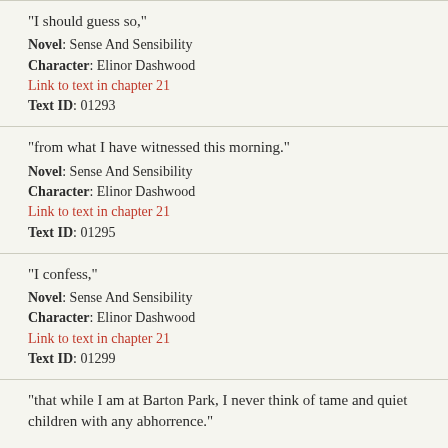"I should guess so,"
Novel: Sense And Sensibility
Character: Elinor Dashwood
Link to text in chapter 21
Text ID: 01293
"from what I have witnessed this morning."
Novel: Sense And Sensibility
Character: Elinor Dashwood
Link to text in chapter 21
Text ID: 01295
"I confess,"
Novel: Sense And Sensibility
Character: Elinor Dashwood
Link to text in chapter 21
Text ID: 01299
"that while I am at Barton Park, I never think of tame and quiet children with any abhorrence."